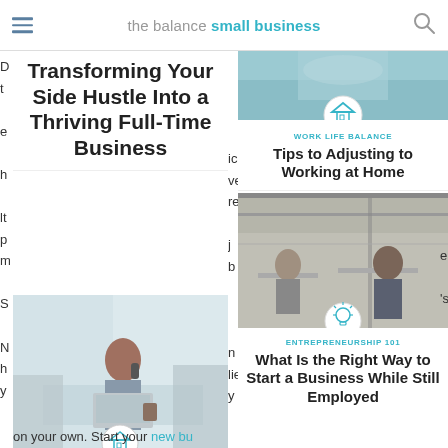the balance small business
Transforming Your Side Hustle Into a Thriving Full-Time Business
[Figure (screenshot): Card with house icon, category label WORK LIFE BALANCE, title Tips to Adjusting to Working at Home]
WORK LIFE BALANCE
Tips to Adjusting to Working at Home
[Figure (photo): Woman on phone working at laptop in bright office]
BEFORE YOU BEGIN
Work from Home Jobs for the Disabled
[Figure (photo): People working in a studio/workshop space]
ENTREPRENEURSHIP 101
What Is the Right Way to Start a Business While Still Employed
on your own. Start your new bu